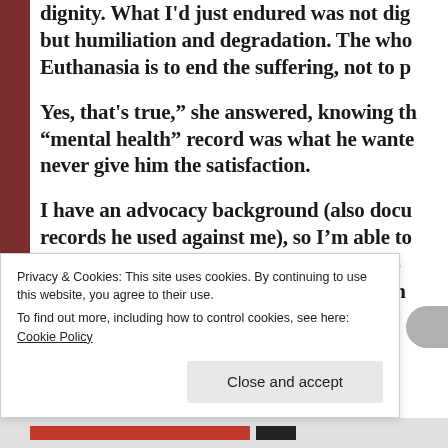dignity. What I'd just endured was not dignity, but humiliation and degradation. The whole point. Euthanasia is to end the suffering, not to p...
Yes, that's true," she answered, knowing that a "mental health" record was what he wanted. I would never give him the satisfaction.
I have an advocacy background (also documented in records he used against me), so I'm able to recognise signs of abuse and/or neglect when I encounter it, and what happened that day was highly unethical, if not out abusive.
Privacy & Cookies: This site uses cookies. By continuing to use this website, you agree to their use.
To find out more, including how to control cookies, see here: Cookie Policy
Close and accept